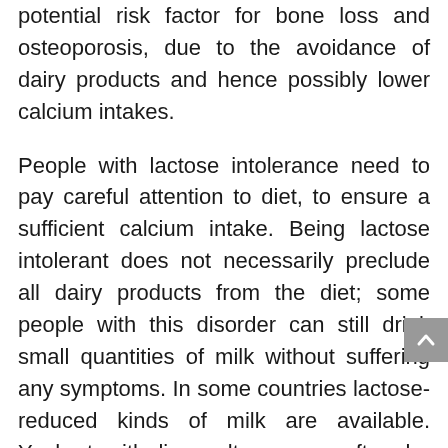potential risk factor for bone loss and osteoporosis, due to the avoidance of dairy products and hence possibly lower calcium intakes.
People with lactose intolerance need to pay careful attention to diet, to ensure a sufficient calcium intake. Being lactose intolerant does not necessarily preclude all dairy products from the diet; some people with this disorder can still drink small quantities of milk without suffering any symptoms. In some countries lactose-reduced kinds of milk are available. Yoghurt with live cultures can often be tolerated because the bacteria in the cultures produce the enzyme lactase, and some